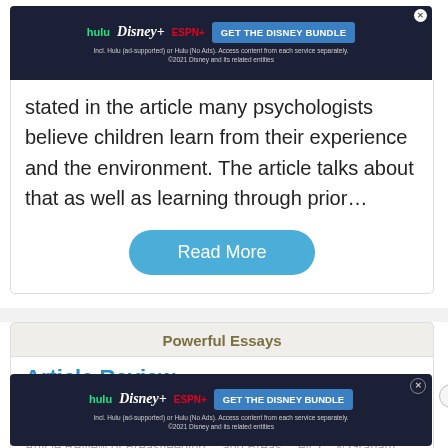[Figure (screenshot): Disney Bundle ad banner with Hulu, Disney+, ESPN+ logos and GET THE DISNEY BUNDLE call to action button]
theory ... constru... s
stated in the article many psychologists believe children learn from their experience and the environment. The article talks about that as well as learning through prior…
Read More
Powerful Essays
Article Review
1934 Words
6 Pages
Article Review of Breastfeeding... and Breastfeeding... ey, L., & Graham, C.J. (2008). Prenatal breastfeeding education
[Figure (screenshot): Disney Bundle ad banner at bottom with Hulu, Disney+, ESPN+ logos and GET THE DISNEY BUNDLE call to action]